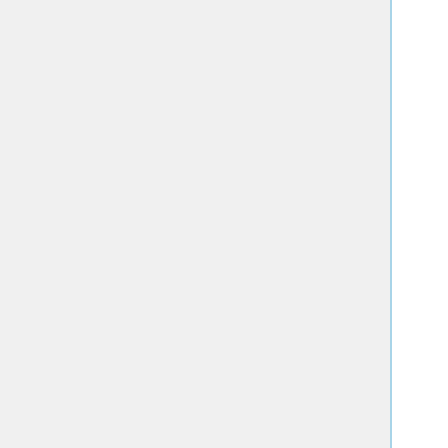grid_score_grid_prefix
../003_gridbox/grid
multigrid_score_secondary
no
dock3.5_score_secondary
no
continuous_score_secondary
no
footprint_similarity_score_seco
no
pharmacophore_score_secondary
no
descriptor_score_secondary
no
gbsa_zou_score_secondary
no
gbsa_hawkins_score_secondary
no
SASA_score_secondary
no
amber_score_secondary
no
minimize_ligand
yes
minimize_anchor